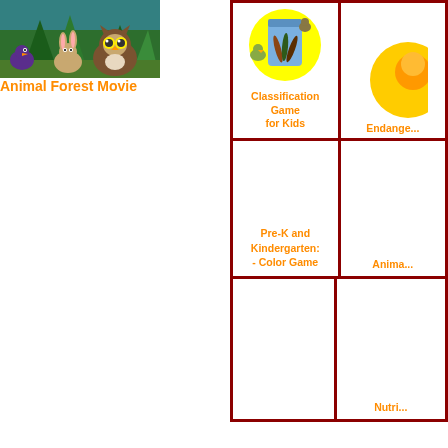[Figure (illustration): Animal Forest Movie thumbnail showing an owl, rabbit, and purple bird in a forest setting]
Animal Forest Movie
[Figure (illustration): Classification Game for Kids thumbnail showing a jar with feathers and birds on a yellow circle background]
Classification Game for Kids
[Figure (illustration): Endangered animals thumbnail with yellow/orange circular background (partially visible)]
Endange...
Pre-K and Kindergarten:
- Color Game
Anima...
Nutri...